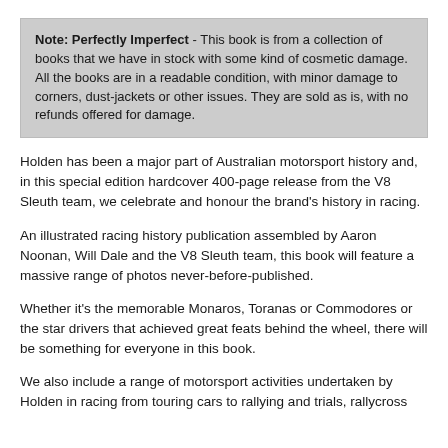Note: Perfectly Imperfect - This book is from a collection of books that we have in stock with some kind of cosmetic damage. All the books are in a readable condition, with minor damage to corners, dust-jackets or other issues. They are sold as is, with no refunds offered for damage.
Holden has been a major part of Australian motorsport history and, in this special edition hardcover 400-page release from the V8 Sleuth team, we celebrate and honour the brand's history in racing.
An illustrated racing history publication assembled by Aaron Noonan, Will Dale and the V8 Sleuth team, this book will feature a massive range of photos never-before-published.
Whether it's the memorable Monaros, Toranas or Commodores or the star drivers that achieved great feats behind the wheel, there will be something for everyone in this book.
We also include a range of motorsport activities undertaken by Holden in racing from touring cars to rallying and trials, rallycross